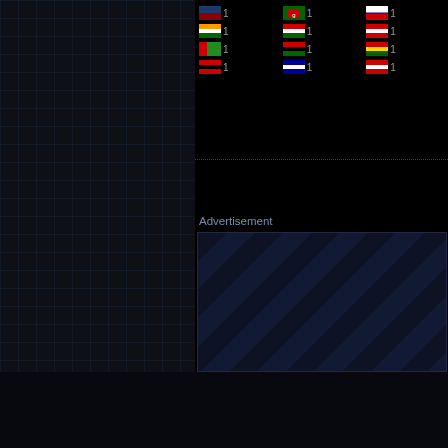[Figure (screenshot): Grid of country flag icons each followed by the number 1, arranged in a 3-column layout on dark background]
Advertisement
[Figure (other): Advertisement placeholder box with diagonal stripe pattern on dark blue background]
Online: • registered kaiserwilhelm
2428 visitors, 60 members and 38 downloaders since 24 hours
Urban Terror | Support | Forums | Frozensand
Copyright © 1999-2022 Frozensand Games Limited  |  All rights reserved
Frozensand Games is a Limited company regis